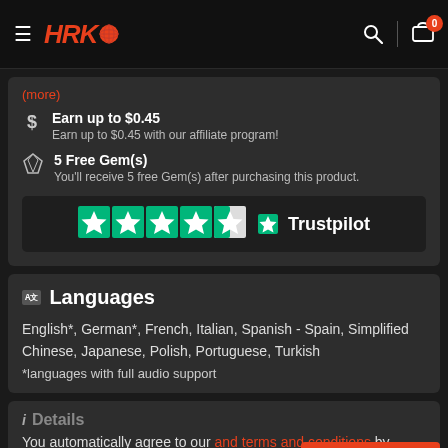HRK (logo) | Search | Cart 0
(more)
Earn up to $0.45 — Earn up to $0.45 with our affiliate program!
5 Free Gem(s) — You'll receive 5 free Gem(s) after purchasing this product.
[Figure (other): Trustpilot rating: 4.5 stars on Trustpilot]
Languages
English*, German*, French, Italian, Spanish - Spain, Simplified Chinese, Japanese, Polish, Portuguese, Turkish
*languages with full audio support
Details
You automatically agree to our and terms and conditions by